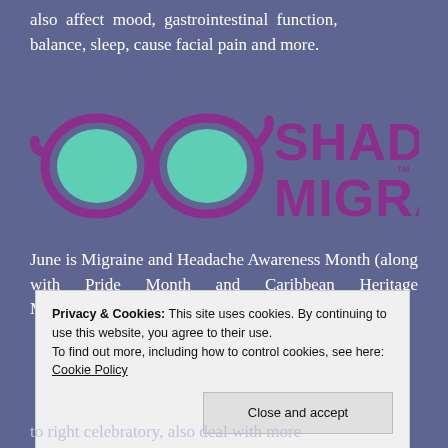also affect mood, gastrointestinal function, balance, sleep, cause facial pain and more.
[Figure (logo): Shades for Migraine logo — sunglasses icon in teal/mint color with purple frame, text 'SHADES FOR MIGRAINE' in purple with trademark symbol]
June is Migraine and Headache Awareness Month (along with Pride Month and Caribbean Heritage Month). And today, June 21st is
Privacy & Cookies: This site uses cookies. By continuing to use this website, you agree to their use.
To find out more, including how to control cookies, see here: Cookie Policy
Close and accept
to right celebratory, also deal with more